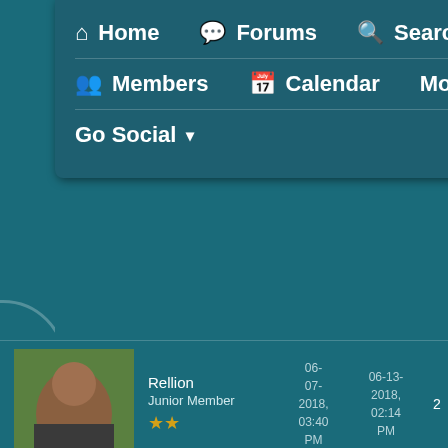Home | Forums | Search | Members | Calendar | More | Go Social
Rellion, Junior Member, ★★, joined 06-07-2018 03:40 PM, last post 06-13-2018 02:14 PM, 2 posts
JediSashaMonroe, Stage Master, ★★, joined 06-04-2018 09:28 AM, last post 06-22-2018 11:16 AM, 1 post
winter, Junior Member, joined 06-04-2018, last post 10-29-2018